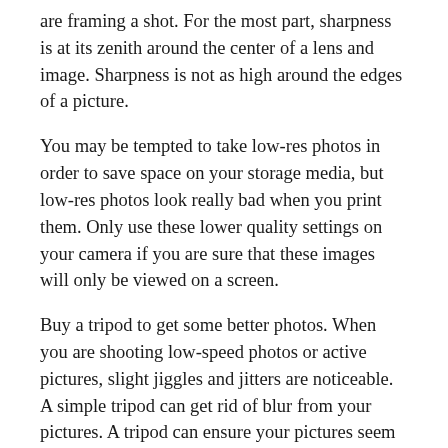are framing a shot. For the most part, sharpness is at its zenith around the center of a lens and image. Sharpness is not as high around the edges of a picture.
You may be tempted to take low-res photos in order to save space on your storage media, but low-res photos look really bad when you print them. Only use these lower quality settings on your camera if you are sure that these images will only be viewed on a screen.
Buy a tripod to get some better photos. When you are shooting low-speed photos or active pictures, slight jiggles and jitters are noticeable. A simple tripod can get rid of blur from your pictures. A tripod can ensure your pictures seem more professional, and get rid of results that were unexpected as well.
Experiment a little with the focus to create interesting pictures. As smaller f-aperture numbers reduce the field will